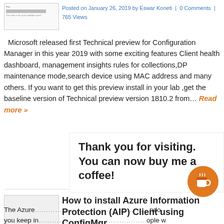[Figure (screenshot): Small thumbnail image of a blog post with text and a highlighted bar]
Posted on January 26, 2019 by Eswar Koneti | 0 Comments | 765 Views
Microsoft released first Technical preview for Configuration Manager in this year 2019 with some exciting features Client health dashboard, management insights rules for collections,DP maintenance mode,search device using MAC address and many others. If you want to get this preview install in your lab ,get the baseline version of Technical preview version 1810.2 from… Read more »
[Figure (screenshot): Small thumbnail image for the Azure Information Protection article]
How to install Azure Information Protection (AIP) Client using ConfigMgr
Comments
Thank you for visiting. You can now buy me a coffee!
The Azure … ndo… you keep in… eople w… shouldn't see them, even if your email is forwarded or your document